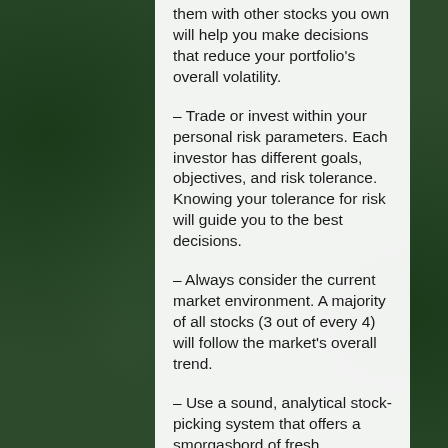them with other stocks you own will help you make decisions that reduce your portfolio's overall volatility.
– Trade or invest within your personal risk parameters. Each investor has different goals, objectives, and risk tolerance. Knowing your tolerance for risk will guide you to the best decisions.
– Always consider the current market environment. A majority of all stocks (3 out of every 4) will follow the market's overall trend.
– Use a sound, analytical stock-picking system that offers a smorgasbord of fresh